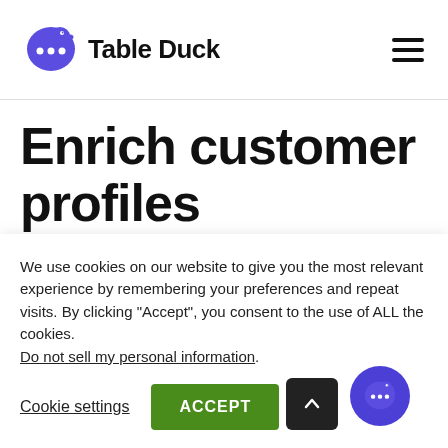[Figure (logo): Table Duck logo — purple duck icon with chat bubbles and bold 'Table Duck' wordmark]
Enrich customer profiles
We use cookies on our website to give you the most relevant experience by remembering your preferences and repeat visits. By clicking “Accept”, you consent to the use of ALL the cookies. Do not sell my personal information.
Cookie settings
ACCEPT